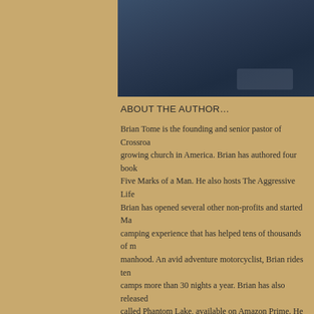[Figure (photo): Partial photo of a person wearing a dark navy blue puffer/down jacket, cropped at the shoulders/chest area]
ABOUT THE AUTHOR…
Brian Tome is the founding and senior pastor of Crossroads, one of the fastest growing church in America. Brian has authored four books, most recently Five Marks of a Man. He also hosts The Aggressive Life podcast. Brian has opened several other non-profits and started Man Camp, a camping experience that has helped tens of thousands of men step into manhood. An avid adventure motorcyclist, Brian rides tens of thousands and camps more than 30 nights a year. Brian has also released a documentary called Phantom Lake, available on Amazon Prime. He is married and lives in Cincinnati, Ohio.
Rate this: ★★★★★ ℹ 1 Vote
Share this: